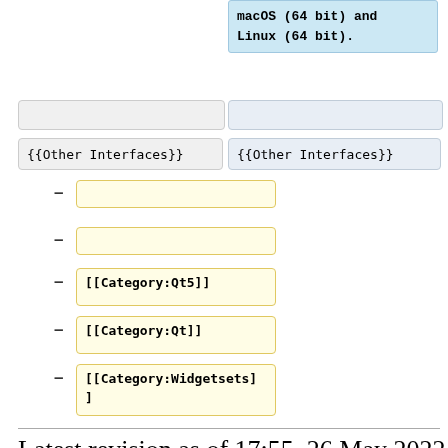macOS (64 bit) and Linux (64 bit).
{{Other Interfaces}}
{{Other Interfaces}}
[[Category:Qt5]]
[[Category:Qt]]
[[Category:Widgetsets]]
Latest revision as of 17:55, 26 May 2022
| English (en) |
This article applies to Qt5 widgetset only.
See also: Multiplatform Programming Guide